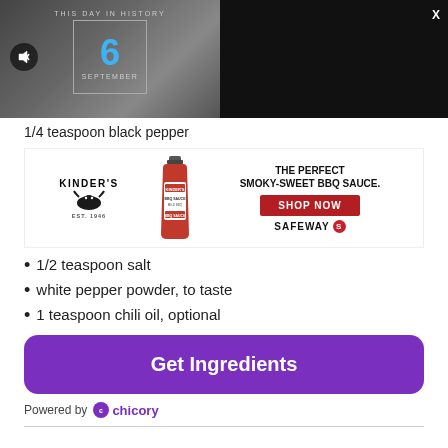[Figure (screenshot): This Day in History overlay banner showing date September 6 with people in background, mute button, and black right panel with X close button]
1/4 teaspoon black pepper
[Figure (infographic): Kinder's BBQ sauce advertisement: The Perfect Smoky-Sweet BBQ Sauce. Shop Now button. Safeway logo.]
1/2 teaspoon salt
white pepper powder, to taste
1 teaspoon chili oil, optional
[Figure (other): Get Ingredients purple button]
Powered by chicory